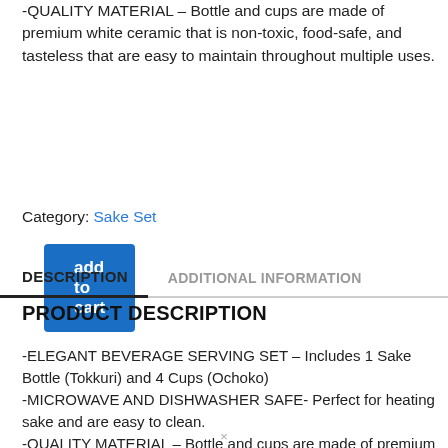-QUALITY MATERIAL – Bottle and cups are made of premium white ceramic that is non-toxic, food-safe, and tasteless that are easy to maintain throughout multiple uses.
add to cart
Category: Sake Set
DESCRIPTION
ADDITIONAL INFORMATION
PRODUCT DESCRIPTION
-ELEGANT BEVERAGE SERVING SET – Includes 1 Sake Bottle (Tokkuri) and 4 Cups (Ochoko)
-MICROWAVE AND DISHWASHER SAFE- Perfect for heating sake and are easy to clean.
-QUALITY MATERIAL – Bottle and cups are made of premium white ceramic that may be non-toxic, food-secure, and tasteless which